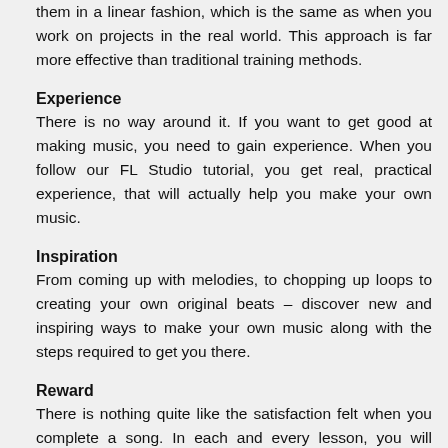them in a linear fashion, which is the same as when you work on projects in the real world. This approach is far more effective than traditional training methods.
Experience
There is no way around it. If you want to get good at making music, you need to gain experience. When you follow our FL Studio tutorial, you get real, practical experience, that will actually help you make your own music.
Inspiration
From coming up with melodies, to chopping up loops to creating your own original beats – discover new and inspiring ways to make your own music along with the steps required to get you there.
Reward
There is nothing quite like the satisfaction felt when you complete a song. In each and every lesson, you will progress as a music producer, and add more and more to your track until it is complete. Going from the basics of creating a beat, creating a melody, arranging your track into a full song,